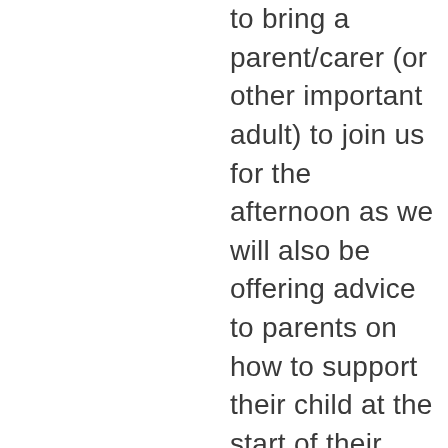to bring a parent/carer (or other important adult) to join us for the afternoon as we will also be offering advice to parents on how to support their child at the start of their high school education – we know that parents can be anxious about this